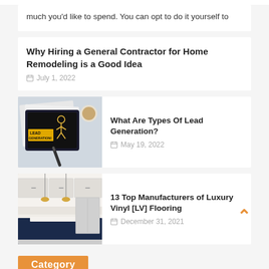much you'd like to spend. You can opt to do it yourself to
Why Hiring a General Contractor for Home Remodeling is a Good Idea
July 1, 2022
[Figure (photo): A tablet showing 'LEAD GENERATION' text with a figure, surrounded by papers, a coffee cup, and a pen]
What Are Types Of Lead Generation?
May 19, 2022
[Figure (photo): A modern white kitchen with island countertop, pendant lights, and stainless steel appliances]
13 Top Manufacturers of Luxury Vinyl [LV] Flooring
December 31, 2021
Category